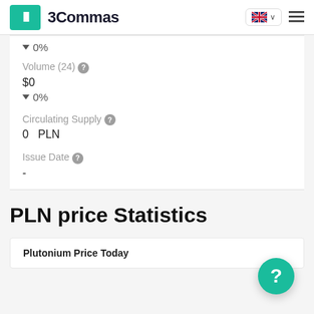3Commas
▼ 0%
Volume (24)
$0
▼ 0%
Circulating Supply
0  PLN
Issue Date
-
PLN price Statistics
Plutonium Price Today